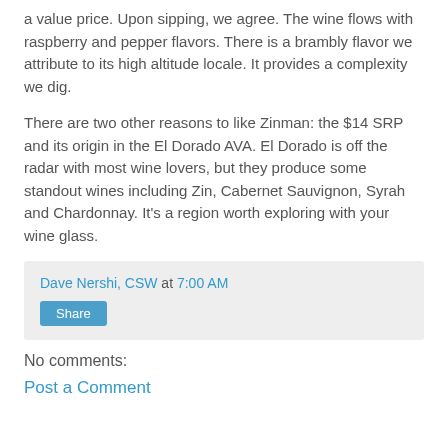a value price. Upon sipping, we agree. The wine flows with raspberry and pepper flavors. There is a brambly flavor we attribute to its high altitude locale. It provides a complexity we dig.
There are two other reasons to like Zinman: the $14 SRP and its origin in the El Dorado AVA. El Dorado is off the radar with most wine lovers, but they produce some standout wines including Zin, Cabernet Sauvignon, Syrah and Chardonnay. It's a region worth exploring with your wine glass.
Dave Nershi, CSW at 7:00 AM
Share
No comments:
Post a Comment